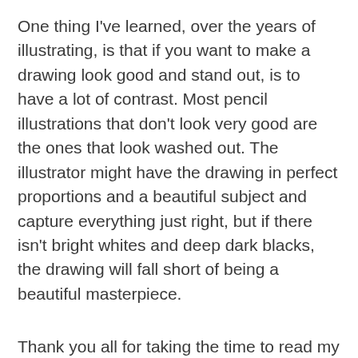One thing I've learned, over the years of illustrating, is that if you want to make a drawing look good and stand out, is to have a lot of contrast. Most pencil illustrations that don't look very good are the ones that look washed out. The illustrator might have the drawing in perfect proportions and a beautiful subject and capture everything just right, but if there isn't bright whites and deep dark blacks, the drawing will fall short of being a beautiful masterpiece.
Thank you all for taking the time to read my blog and hopefully you'll look forward to reading future blogs from me. I would love to hear any comments you might have.